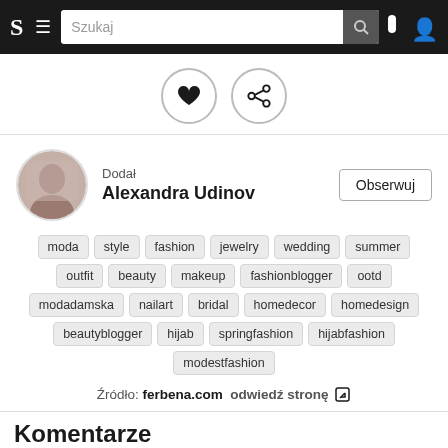S [menu] Szukaj [search icon] [user icon]
[Figure (other): Heart icon button and share icon button in circles]
Dodał
Alexandra Udinov
Obserwuj
moda
style
fashion
jewelry
wedding
summer
outfit
beauty
makeup
fashionblogger
ootd
modadamska
nailart
bridal
homedecor
homedesign
beautyblogger
hijab
springfashion
hijabfashion
modestfashion
Źródło: ferbena.com  odwiedź stronę ↗
Komentarze
Zaloguj się, żeby skomentować
Podobne inspiracje
[Figure (photo): Bottom preview thumbnails of similar inspirations]